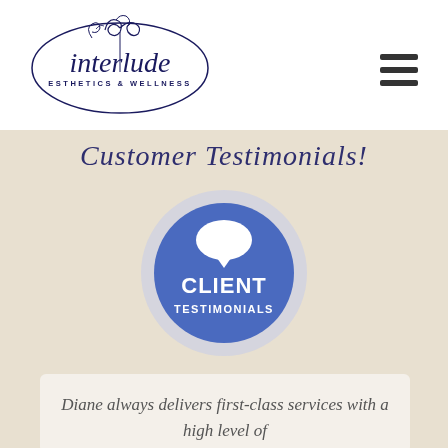[Figure (logo): Interlude Esthetics & Wellness logo with decorative script lettering and floral/butterfly design element and oval border]
[Figure (other): Hamburger menu icon with three horizontal bars]
Customer Testimonials!
[Figure (illustration): Blue circular badge with speech bubble icon and text CLIENT TESTIMONIALS on a light lavender ring]
Diane always delivers first-class services with a high level of